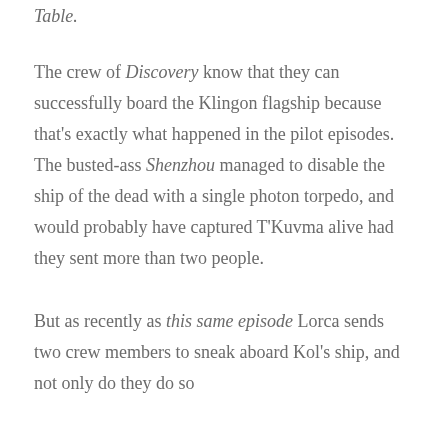Table.
The crew of Discovery know that they can successfully board the Klingon flagship because that's exactly what happened in the pilot episodes. The busted-ass Shenzhou managed to disable the ship of the dead with a single photon torpedo, and would probably have captured T'Kuvma alive had they sent more than two people.
But as recently as this same episode Lorca sends two crew members to sneak aboard Kol's ship, and not only do they do so